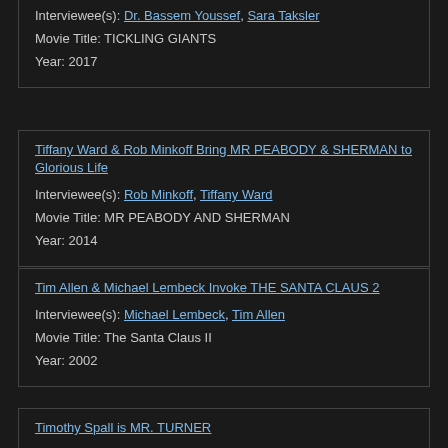Interviewee(s): Dr. Bassem Youssef, Sara Taksler
Movie Title: TICKLING GIANTS
Year: 2017
Tiffany Ward & Rob Minkoff Bring MR PEABODY & SHERMAN to Glorious Life
Interviewee(s): Rob Minkoff, Tiffany Ward
Movie Title: MR PEABODY AND SHERMAN
Year: 2014
Tim Allen & Michael Lembeck Invoke THE SANTA CLAUS 2
Interviewee(s): Michael Lembeck, Tim Allen
Movie Title: The Santa Claus II
Year: 2002
Timothy Spall is MR. TURNER